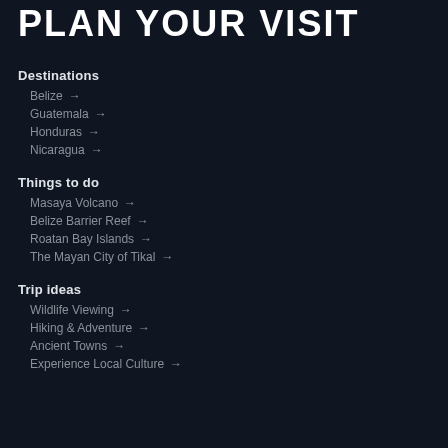PLAN YOUR VISIT
Destinations
Belize →
Guatemala →
Honduras →
Nicaragua →
Things to do
Masaya Volcano →
Belize Barrier Reef →
Roatan Bay Islands →
The Mayan City of Tikal →
Trip ideas
Wildlife Viewing →
Hiking & Adventure →
Ancient Towns →
Experience Local Culture →